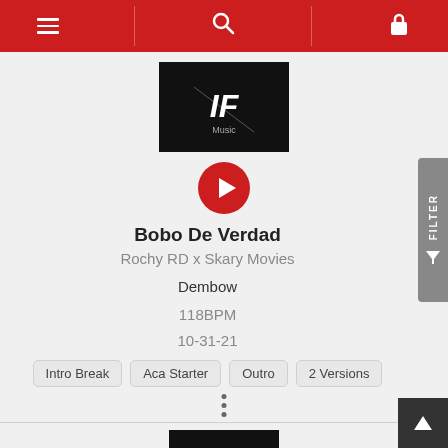Navigation bar with menu, search, and lock icons
[Figure (screenshot): Album art thumbnail with black background and stylized F logo]
[Figure (illustration): Red circular play button icon]
Bobo De Verdad
Rochy RD x Skary Movies
Dembow
118BPM
10-31-21
Intro Break
Aca Starter
Outro
2 Versions
[Figure (screenshot): Second album art thumbnail with black background and stylized F logo at the bottom of the page]